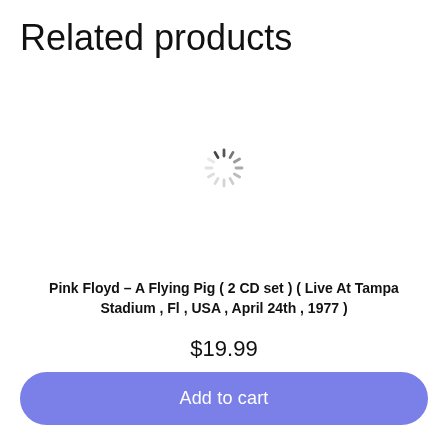Related products
[Figure (other): Loading spinner animation (circular dashed spinner icon)]
Pink Floyd – A Flying Pig ( 2 CD set ) ( Live At Tampa Stadium , Fl , USA , April 24th , 1977 )
$19.99
Add to cart